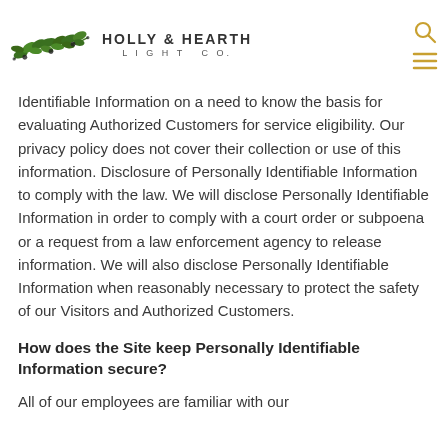HOLLY & HEARTH LIGHT CO.
Identifiable Information on a need to know the basis for evaluating Authorized Customers for service eligibility. Our privacy policy does not cover their collection or use of this information. Disclosure of Personally Identifiable Information to comply with the law. We will disclose Personally Identifiable Information in order to comply with a court order or subpoena or a request from a law enforcement agency to release information. We will also disclose Personally Identifiable Information when reasonably necessary to protect the safety of our Visitors and Authorized Customers.
How does the Site keep Personally Identifiable Information secure?
All of our employees are familiar with our